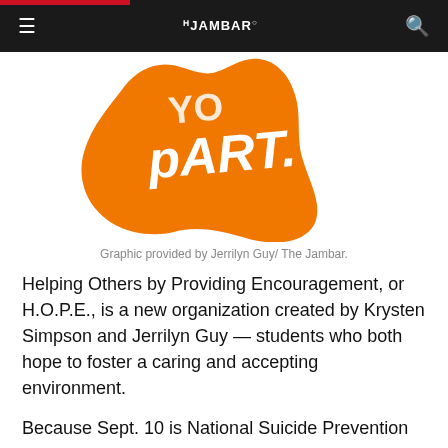THE JAMBAR
[Figure (illustration): Orange graphic logo with text 'PART.' in white handwritten style on an orange hand/shape background]
Graphic provided by Jerrilyn Guy/ The Jambar.
Helping Others by Providing Encouragement, or H.O.P.E., is a new organization created by Krysten Simpson and Jerrilyn Guy — students who both hope to foster a caring and accepting environment.
Because Sept. 10 is National Suicide Prevention Day, H.O.P.E hosted the Providing H.O.P.E. event to provide the YSU community with facts regarding suicide and to show students how to get someone the professional help they may need.